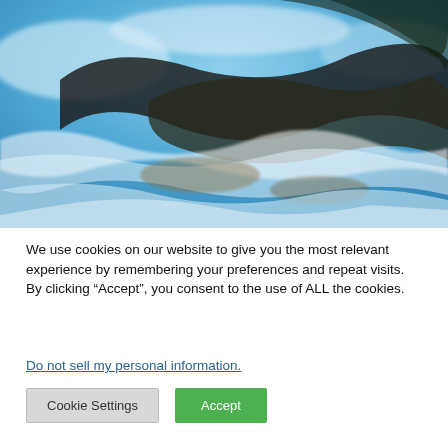[Figure (photo): Close-up photo of water surface with ripples and reflections of dark rocky shapes and sky, predominantly blue and white tones with dark swirling patterns]
We use cookies on our website to give you the most relevant experience by remembering your preferences and repeat visits. By clicking “Accept”, you consent to the use of ALL the cookies.
Do not sell my personal information.